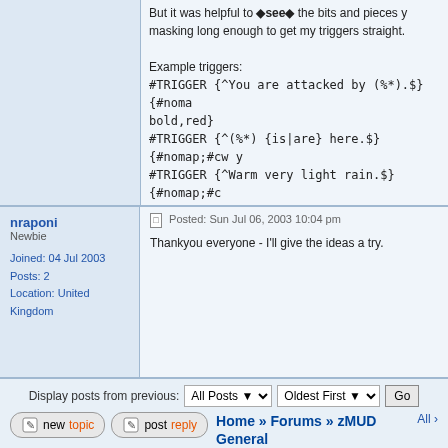But it was helpful to see the bits and pieces you masking long enough to get my triggers straight.

Example triggers:
#TRIGGER {^You are attacked by (%*).¤} {#nomap;#cw bold,red}
#TRIGGER {^(%*) {is|are} here.$} {#nomap;#cw ...}
#TRIGGER {^Warm very light rain.$} {#nomap;#c...}
nraponi
Newbie
Joined: 04 Jul 2003
Posts: 2
Location: United Kingdom
Posted: Sun Jul 06, 2003 10:04 pm
Thankyou everyone - I'll give the ideas a try.
Display posts from previous: All Posts  Oldest First  Go
Home » Forums » zMUD General Discussion
Page 1 of 1
Jump to: zMUD General Discussion
You cannot post new topics
You cannot reply to topics
You cannot edit your posts
You cannot delete your posts
You cannot vote in polls
© 2009 Zugg Software. Hosted by Wolfpaw.net